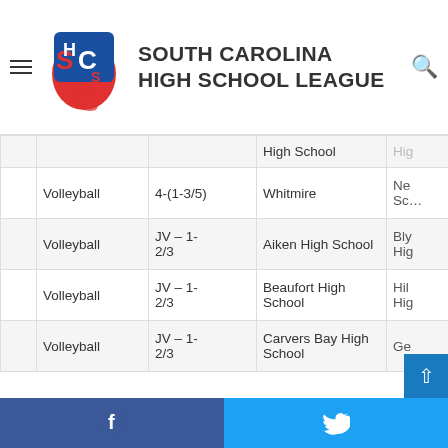South Carolina High School League
|  | Sport | Division | Team 1 | Team 2 (partial) |
| --- | --- | --- | --- | --- |
|  |  |  | High School | Hig… |
|  | Volleyball | 4-(1-3/5) | Whitmire | Ne… Sc… |
|  | Volleyball | JV – 1-2/3 | Aiken High School | Bly… Hig… |
|  | Volleyball | JV – 1-2/3 | Beaufort High School | Hil… Hig… |
|  | Volleyball | JV – 1-2/3 | Carvers Bay High School | Ge… |
Facebook | Twitter